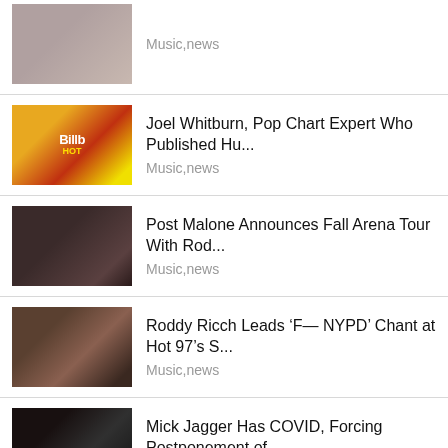Music,news
Joel Whitburn, Pop Chart Expert Who Published Hu... Music,news
Post Malone Announces Fall Arena Tour With Rod... Music,news
Roddy Ricch Leads ‘F— NYPD’ Chant at Hot 97’s S... Music,news
Mick Jagger Has COVID, Forcing Postponement of... Music,news
The Smile, Thom Yorke and Jonny Greenwood’s O... Music,news